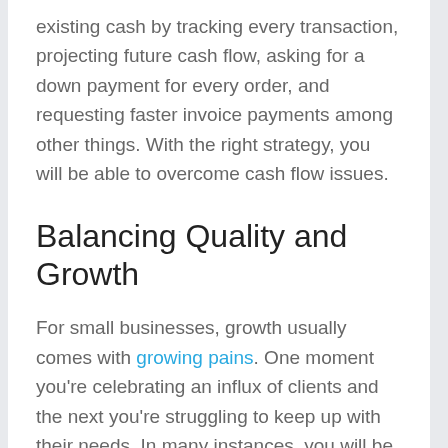existing cash by tracking every transaction, projecting future cash flow, asking for a down payment for every order, and requesting faster invoice payments among other things. With the right strategy, you will be able to overcome cash flow issues.
Balancing Quality and Growth
For small businesses, growth usually comes with growing pains. One moment you're celebrating an influx of clients and the next you're struggling to keep up with their needs. In many instances, you will be forced to increase production, manpower, or even outsource help, which can cause you to lose focus in one area. Focusing too much on growth can hurt the